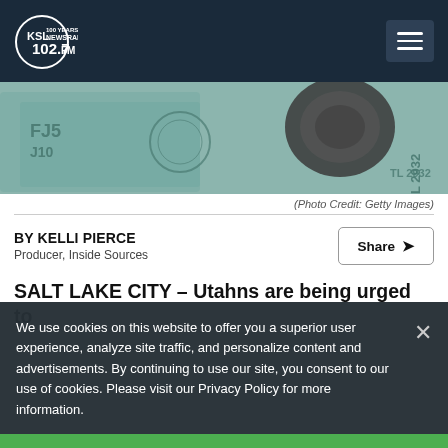KSL NewsRadio 102.7FM
[Figure (photo): Photo of dollar bills and a stethoscope on top, teal-tinted]
(Photo Credit: Getty Images)
BY KELLI PIERCE
Producer, Inside Sources
SALT LAKE CITY – Utahns are being urged to
We use cookies on this website to offer you a superior user experience, analyze site traffic, and personalize content and advertisements. By continuing to use our site, you consent to our use of cookies. Please visit our Privacy Policy for more information.